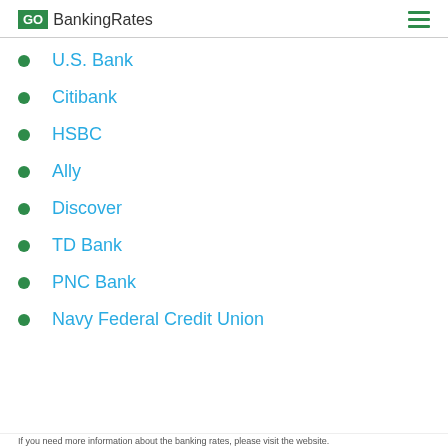GOBankingRates
U.S. Bank
Citibank
HSBC
Ally
Discover
TD Bank
PNC Bank
Navy Federal Credit Union
If you need more information about the banking rates, please visit the website.